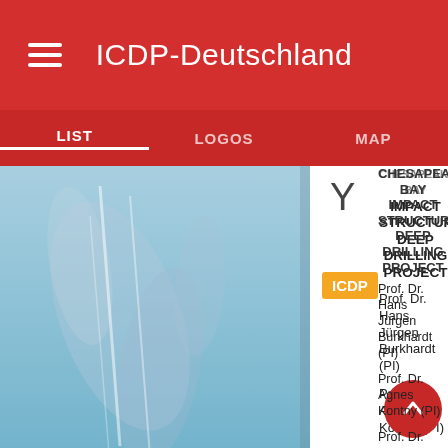ICDP-Deutschland
LIST   LOGOS   MAP
[Figure (photo): Satellite image thumbnail showing aerial/geological terrain with blue sky tones]
CHESAPEAKE BAY IMPACT STRUCTURE DEEP DRILLING PROJECT
Prof. Dr. Hans Jürgen Burkhardt (PI)
Prof. Dr. Agnes Kontny (PI)
Prof. Dr. Axel Schippers (PI)
Prof. Dr. Alexander Deutsch...
Prof. Dr. H...